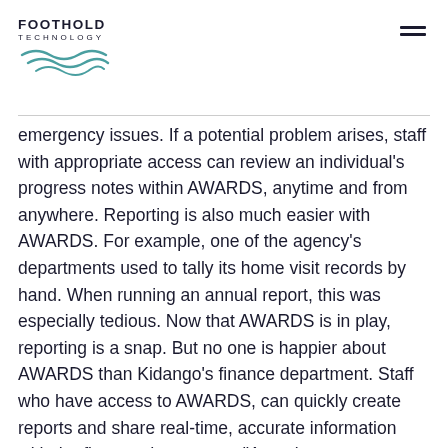FOOTHOLD TECHNOLOGY
emergency issues. If a potential problem arises, staff with appropriate access can review an individual’s progress notes within AWARDS, anytime and from anywhere. Reporting is also much easier with AWARDS. For example, one of the agency’s departments used to tally its home visit records by hand. When running an annual report, this was especially tedious. Now that AWARDS is in play, reporting is a snap. But no one is happier about AWARDS than Kidango’s finance department. Staff who have access to AWARDS, can quickly create reports and share real-time, accurate information with the finance department. “A rep in our